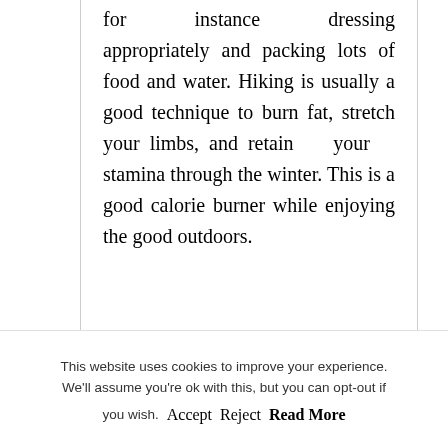for instance dressing appropriately and packing lots of food and water. Hiking is usually a good technique to burn fat, stretch your limbs, and retain your stamina through the winter. This is a good calorie burner while enjoying the good outdoors.
This website uses cookies to improve your experience. We'll assume you're ok with this, but you can opt-out if you wish. Accept Reject Read More